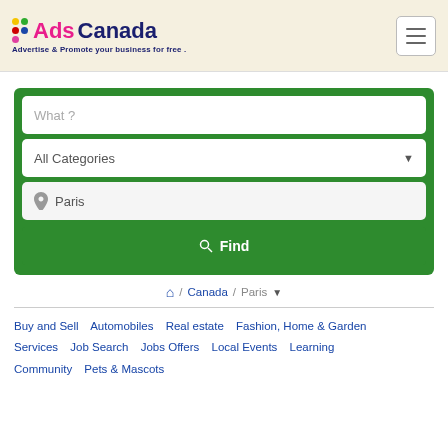Ads Canada - Advertise & Promote your business for free .
[Figure (screenshot): Search form with What?, All Categories dropdown, Paris location field, and Find button]
🏠 / Canada / Paris ▼
Buy and Sell
Automobiles
Real estate
Fashion, Home & Garden
Services
Job Search
Jobs Offers
Local Events
Learning
Community
Pets & Mascots